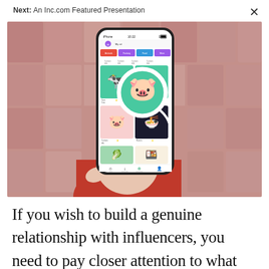Next: An Inc.com Featured Presentation
[Figure (photo): A hand holding a smartphone displaying a sticker/clipart marketplace app with colorful illustrated stickers (animals, food). A white circular magnifier overlays part of the screen. Background shows blurred product images in a reddish-pink tone.]
If you wish to build a genuine relationship with influencers, you need to pay closer attention to what they want. Remember that